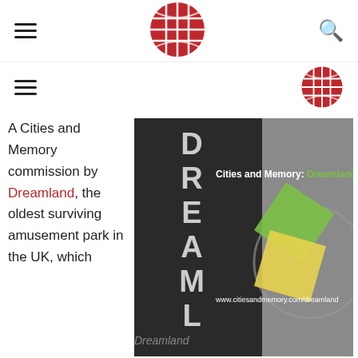Navigation header with hamburger menu, Cities and Memory globe logo, and search icon
[Figure (logo): Cities and Memory globe logo — red circular logo with grid pattern, shown twice: large in top center nav and smaller in second nav row right side]
A Cities and Memory commission by Dreamland, the oldest surviving amusement park in the UK, which
[Figure (photo): Black and white photo of the Dreamland amusement park building facade with large letters D-R-E-A-M-L-A reading vertically. Overlaid green and yellow diamond graphic shapes and white text reading 'Cities and Memory: Dreamland' and 'www.citiesandmemory.com/dreamland']
Dreamland